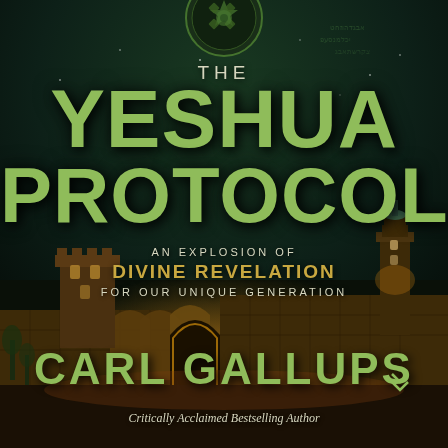[Figure (illustration): Book cover for 'The Yeshua Protocol' by Carl Gallups. Dark green and black background with a night-time view of Jerusalem's ancient stone walls and tower lit in golden light. Decorative medallion/compass rose at the top center. Hebrew script texture overlaid subtly in top-right corner.]
THE YESHUA PROTOCOL
AN EXPLOSION OF DIVINE REVELATION FOR OUR UNIQUE GENERATION
CARL GALLUPS
Critically Acclaimed Bestselling Author